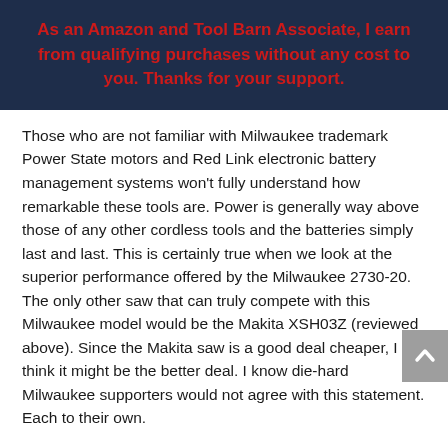As an Amazon and Tool Barn Associate, I earn from qualifying purchases without any cost to you. Thanks for your support.
Those who are not familiar with Milwaukee trademark Power State motors and Red Link electronic battery management systems won't fully understand how remarkable these tools are. Power is generally way above those of any other cordless tools and the batteries simply last and last. This is certainly true when we look at the superior performance offered by the Milwaukee 2730-20. The only other saw that can truly compete with this Milwaukee model would be the Makita XSH03Z (reviewed above). Since the Makita saw is a good deal cheaper, I think it might be the better deal. I know die-hard Milwaukee supporters would not agree with this statement. Each to their own.
As always, top quality is evident throughout. It has a fantastic aluminum base, and the blade guards are also expertly crafted from aluminum. Some folks have had a few issues with the blade guard. It hangs up on